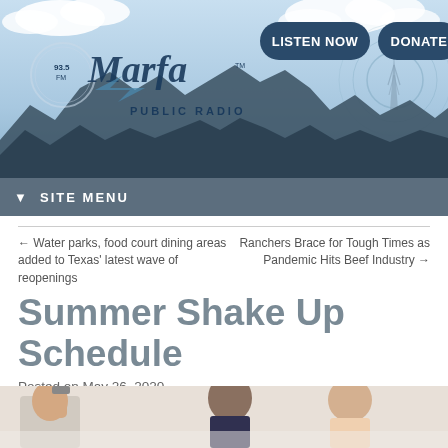[Figure (illustration): Marfa Public Radio 93.5 FM header banner with logo, mountains silhouette, clouds, radio tower, and navigation buttons (Listen Now, Donate)]
▼ SITE MENU
← Water parks, food court dining areas added to Texas' latest wave of reopenings
Ranchers Brace for Tough Times as Pandemic Hits Beef Industry →
Summer Shake Up Schedule
Posted on May 26, 2020
[Figure (photo): Two people working together, partially visible at bottom of page]